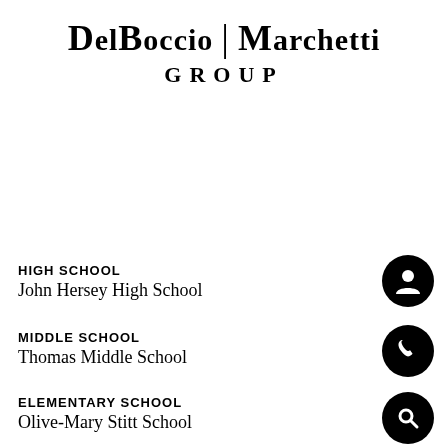[Figure (logo): DelBoccio Marchetti Group logo with serif bold text and vertical divider]
HIGH SCHOOL
John Hersey High School
MIDDLE SCHOOL
Thomas Middle School
ELEMENTARY SCHOOL
Olive-Mary Stitt School
[Figure (illustration): Black circle icon with person/contact silhouette]
[Figure (illustration): Black circle icon with phone handset]
[Figure (illustration): Black circle icon with magnifying glass search symbol]